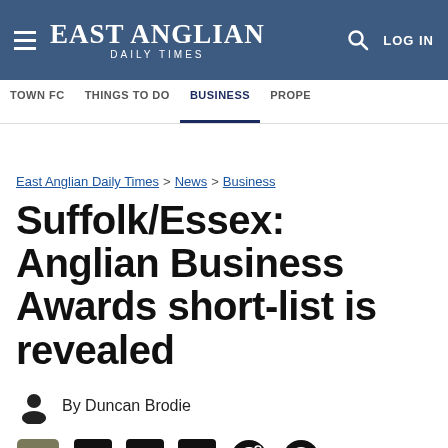EAST ANGLIAN DAILY TIMES | LOG IN
TOWN FC | THINGS TO DO | BUSINESS | PROPE
East Anglian Daily Times > News > Business
Suffolk/Essex: Anglian Business Awards short-list is revealed
By Duncan Brodie